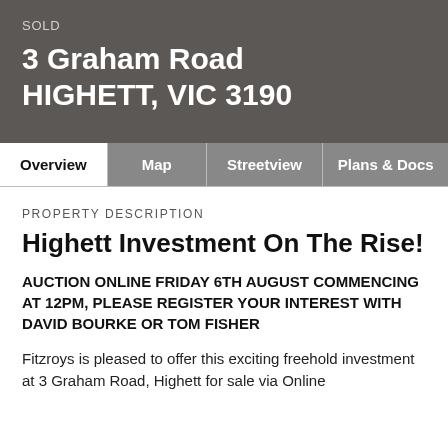SOLD
3 Graham Road HIGHETT, VIC 3190
Overview
Map
Streetview
Plans & Docs
PROPERTY DESCRIPTION
Highett Investment On The Rise!
AUCTION ONLINE FRIDAY 6TH AUGUST COMMENCING AT 12PM, PLEASE REGISTER YOUR INTEREST WITH DAVID BOURKE OR TOM FISHER
Fitzroys is pleased to offer this exciting freehold investment at 3 Graham Road, Highett for sale via Online